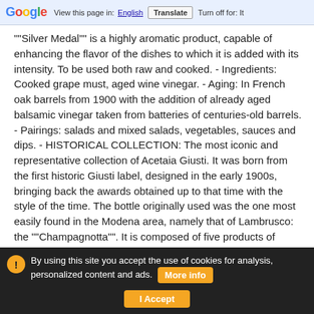Google | View this page in: English | Translate | Turn off for: It
""Silver Medal"" is a highly aromatic product, capable of enhancing the flavor of the dishes to which it is added with its intensity. To be used both raw and cooked. - Ingredients: Cooked grape must, aged wine vinegar. - Aging: In French oak barrels from 1900 with the addition of already aged balsamic vinegar taken from batteries of centuries-old barrels. - Pairings: salads and mixed salads, vegetables, sauces and dips. - HISTORICAL COLLECTION: The most iconic and representative collection of Acetaia Giusti. It was born from the first historic Giusti label, designed in the early 1900s, bringing back the awards obtained up to that time with the style of the time. The bottle originally used was the one most easily found in the Modena area, namely that of Lambrusco: the ""Champagnotta"". It is composed of five products of different recipes and aging, created over the years by the various generations of the family, now classified with a progressive number of medals, selected from those achieved in the Universal Expositions of the late nineteenth ...ther
By using this site you accept the use of cookies for analysis, personalized content and ads. More info | I Accept